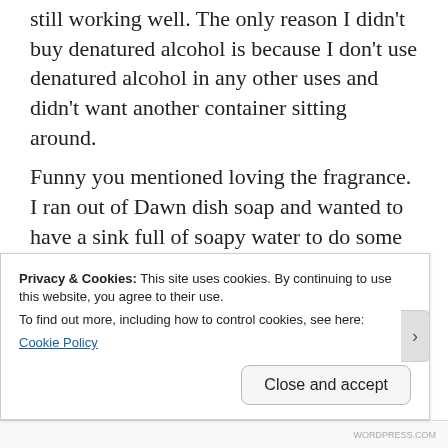still working well. The only reason I didn't buy denatured alcohol is because I don't use denatured alcohol in any other uses and didn't want another container sitting around.
Funny you mentioned loving the fragrance. I ran out of Dawn dish soap and wanted to have a sink full of soapy water to do some deep cleaning in the kitchen and used a different brand that I found in the cleaning supplies. It smelled awful! I used it, but was sure glad that was the end of it. With the
Privacy & Cookies: This site uses cookies. By continuing to use this website, you agree to their use.
To find out more, including how to control cookies, see here:
Cookie Policy
Close and accept